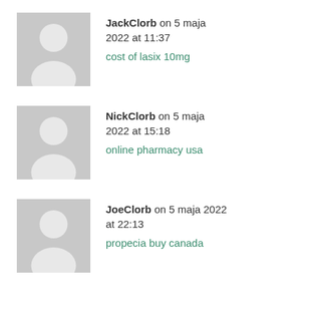[Figure (illustration): Generic grey avatar placeholder icon for JackClorb]
JackClorb on 5 maja 2022 at 11:37
cost of lasix 10mg
[Figure (illustration): Generic grey avatar placeholder icon for NickClorb]
NickClorb on 5 maja 2022 at 15:18
online pharmacy usa
[Figure (illustration): Generic grey avatar placeholder icon for JoeClorb]
JoeClorb on 5 maja 2022 at 22:13
propecia buy canada